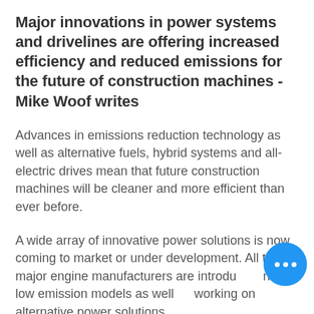Major innovations in power systems and drivelines are offering increased efficiency and reduced emissions for the future of construction machines - Mike Woof writes
Advances in emissions reduction technology as well as alternative fuels, hybrid systems and all-electric drives mean that future construction machines will be cleaner and more efficient than ever before.
A wide array of innovative power solutions is now coming to market or under development. All the major engine manufacturers are introducing new low emission models as well as working on alternative power solutions